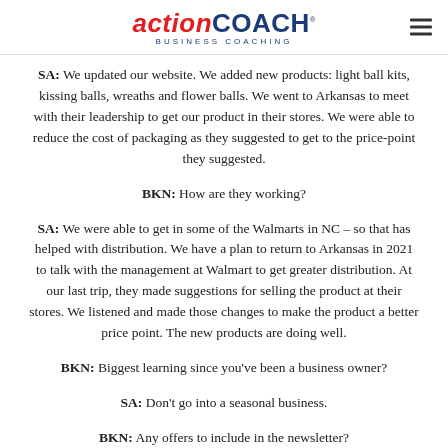actionCOACH BUSINESS COACHING
SA: We updated our website. We added new products: light ball kits, kissing balls, wreaths and flower balls. We went to Arkansas to meet with their leadership to get our product in their stores. We were able to reduce the cost of packaging as they suggested to get to the price-point they suggested.
BKN: How are they working?
SA: We were able to get in some of the Walmarts in NC – so that has helped with distribution. We have a plan to return to Arkansas in 2021 to talk with the management at Walmart to get greater distribution. At our last trip, they made suggestions for selling the product at their stores. We listened and made those changes to make the product a better price point. The new products are doing well.
BKN: Biggest learning since you've been a business owner?
SA: Don't go into a seasonal business.
BKN: Any offers to include in the newsletter?
SA: We now have a holiday light ball kit, the kit that allows you to